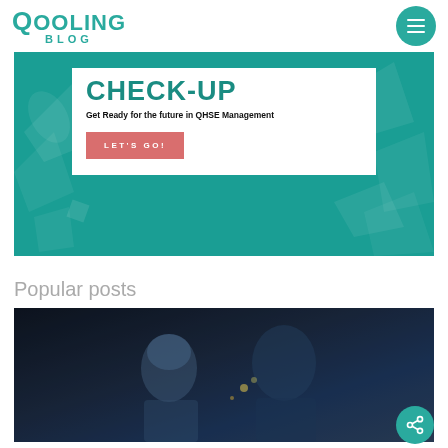QOOLING BLOG
[Figure (infographic): Teal banner with white box overlay showing CHECK-UP heading, subtitle 'Get Ready for the future in QHSE Management', and a pink LET'S GO! button]
Popular posts
[Figure (photo): Dark photo showing two people in protective gear/workwear, appears to be a welding or industrial setting]